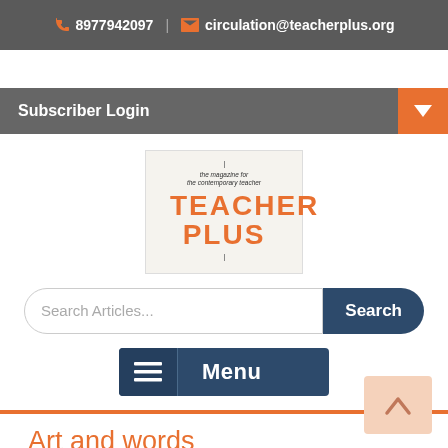8977942097  |  circulation@teacherplus.org
Subscriber Login
[Figure (logo): Teacher Plus magazine logo with tagline 'the magazine for the contemporary teacher']
Search Articles...
Menu
Art and words
Sapna Chheda